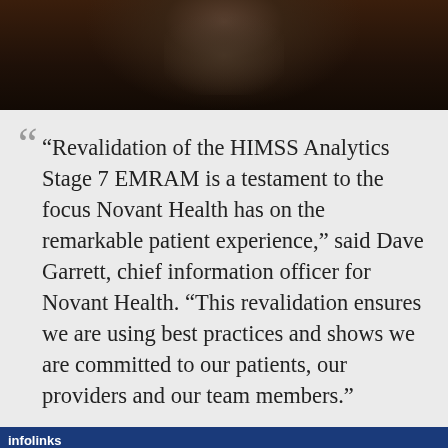[Figure (photo): Dark overhead photo of a person with hands raised, likely at a podium or presentation]
“Revalidation of the HIMSS Analytics Stage 7 EMRAM is a testament to the focus Novant Health has on the remarkable patient experience,” said Dave Garrett, chief information officer for Novant Health. “This revalidation ensures we are using best practices and shows we are committed to our patients, our providers and our team members.”
[Figure (screenshot): Infolinks advertisement bar showing Belk.com ad with clothing images, title 'Belk.com - Belk® - Official Site', subtitle 'Up To 75% Mens & Womens Shorts, Alts, Skirts & Swim', URL www.belk.com, and a blue circular arrow navigation button]